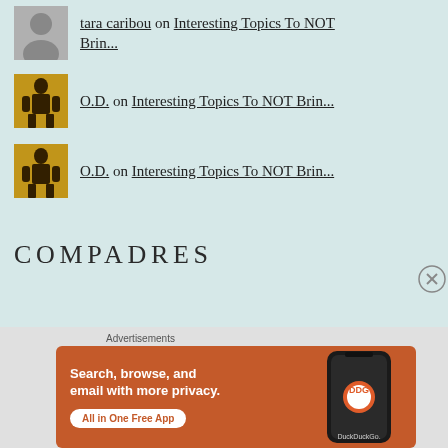tara caribou on Interesting Topics To NOT Brin...
O.D. on Interesting Topics To NOT Brin...
O.D. on Interesting Topics To NOT Brin...
COMPADRES
Advertisements
[Figure (screenshot): DuckDuckGo advertisement banner: orange background with text 'Search, browse, and email with more privacy. All in One Free App' and a phone mockup showing the DuckDuckGo logo.]